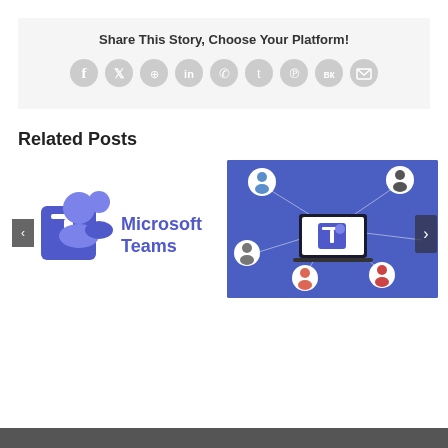Share This Story, Choose Your Platform!
[Figure (illustration): Social media sharing icons: Facebook, Twitter, Reddit, LinkedIn, WhatsApp, Tumblr, Pinterest, VK, Email]
Related Posts
[Figure (logo): Microsoft Teams logo with purple icon and wordmark]
[Figure (illustration): Microsoft Teams collaboration illustration showing people at computers connected to a central Teams logo on a laptop, on blue background]